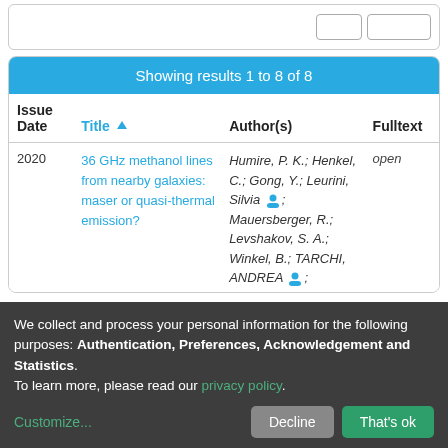| Issue Date | Title ▲ | Author(s) | Fulltext |
| --- | --- | --- | --- |
| 2020 | 36 GHz methanol lines from nearby galaxies: maser or quasi-thermal emission? | Humire, P. K.; Henkel, C.; Gong, Y.; Leurini, Silvia 👤; Mauersberger, R.; Levshakov, S. A.; Winkel, B.; TARCHI, ANDREA 👤; | open |
We collect and process your personal information for the following purposes: Authentication, Preferences, Acknowledgement and Statistics. To learn more, please read our privacy policy.
Customize... | Decline | That's ok